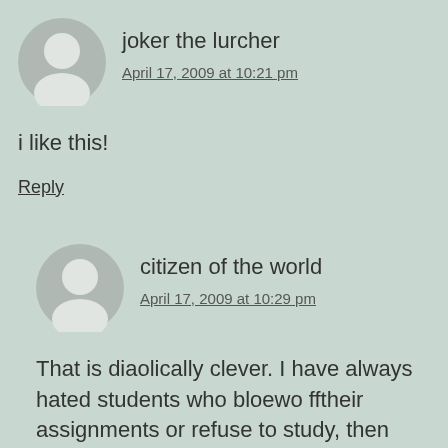joker the lurcher
April 17, 2009 at 10:21 pm
i like this!
Reply
citizen of the world
April 17, 2009 at 10:29 pm
That is diaolically clever. I have always hated students who bloewo fftheir assignments or refuse to study, then want to do extra credit